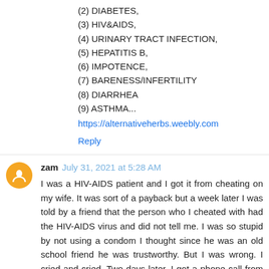(2) DIABETES,
(3) HIV&AIDS,
(4) URINARY TRACT INFECTION,
(5) HEPATITIS B,
(6) IMPOTENCE,
(7) BARENESS/INFERTILITY
(8) DIARRHEA
(9) ASTHMA...
https://alternativeherbs.weebly.com
Reply
zam July 31, 2021 at 5:28 AM
I was a HIV-AIDS patient and I got it from cheating on my wife. It was sort of a payback but a week later I was told by a friend that the person who I cheated with had the HIV-AIDS virus and did not tell me. I was so stupid by not using a condom I thought since he was an old school friend he was trustworthy. But I was wrong. I cried and cried. Two days later, I got a phone call from my friend and he told me about a person who is known by another friend, who can